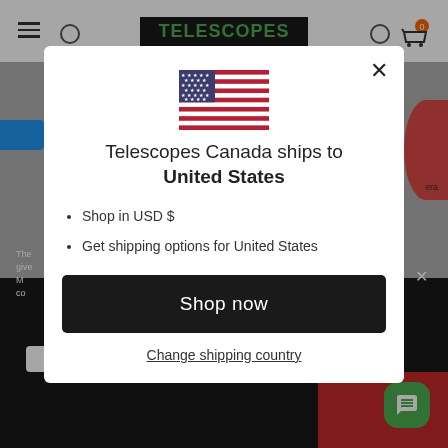[Figure (screenshot): Background of a Telescopes Canada e-commerce website with header, logo, and partial page content visible behind a modal overlay]
[Figure (illustration): Modal dialog popup showing US flag, shipping destination info, shop options, and a Shop now button]
Telescopes Canada ships to United States
Shop in USD $
Get shipping options for United States
Shop now
Change shipping country